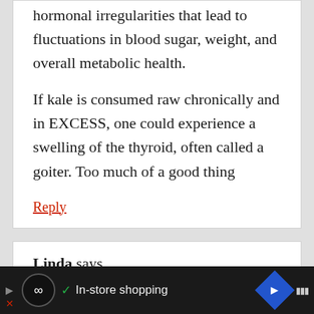hormonal irregularities that lead to fluctuations in blood sugar, weight, and overall metabolic health.
If kale is consumed raw chronically and in EXCESS, one could experience a swelling of the thyroid, often called a goiter. Too much of a good thing
Reply
Linda says
September 22, 2018 at 8:22 am
In-store shopping